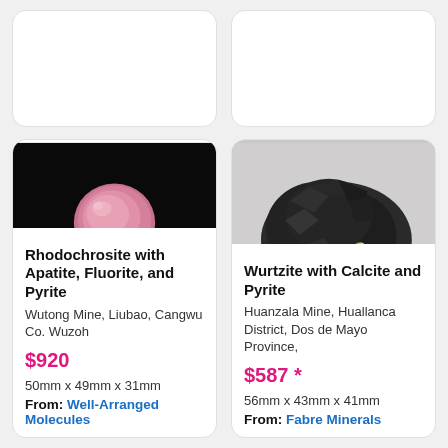[Figure (photo): Partially visible top-left card (cut off at top)]
[Figure (photo): Partially visible top-right card (cut off at top)]
[Figure (photo): Photo of Rhodochrosite with Apatite, Fluorite, and Pyrite mineral specimen on black background]
Rhodochrosite with Apatite, Fluorite, and Pyrite
Wutong Mine, Liubao, Cangwu Co. Wuzoh
$920
50mm x 49mm x 31mm
From: Well-Arranged Molecules
[Figure (photo): Photo of Wurtzite with Calcite and Pyrite mineral specimen on grey background]
Wurtzite with Calcite and Pyrite
Huanzala Mine, Huallanca District, Dos de Mayo Province,
$587 *
56mm x 43mm x 41mm
From: Fabre Minerals